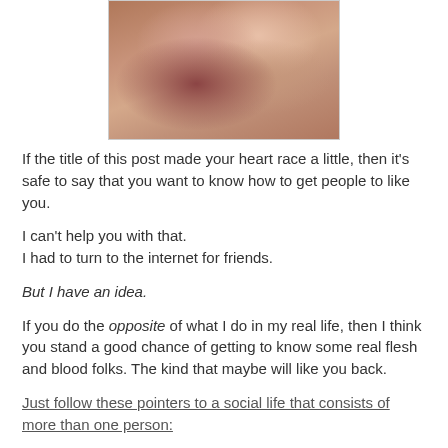[Figure (photo): Photo of two women smiling closely together, partially cropped at top]
If the title of this post made your heart race a little, then it's safe to say that you want to know how to get people to like you.
I can't help you with that.
I had to turn to the internet for friends.
But I have an idea.
If you do the opposite of what I do in my real life, then I think you stand a good chance of getting to know some real flesh and blood folks. The kind that maybe will like you back.
Just follow these pointers to a social life that consists of more than one person: